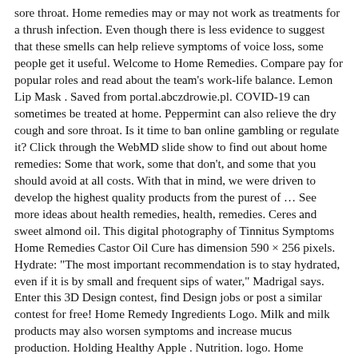sore throat. Home remedies may or may not work as treatments for a thrush infection. Even though there is less evidence to suggest that these smells can help relieve symptoms of voice loss, some people get it useful. Welcome to Home Remedies. Compare pay for popular roles and read about the team's work-life balance. Lemon Lip Mask . Saved from portal.abczdrowie.pl. COVID-19 can sometimes be treated at home. Peppermint can also relieve the dry cough and sore throat. Is it time to ban online gambling or regulate it? Click through the WebMD slide show to find out about home remedies: Some that work, some that don't, and some that you should avoid at all costs. With that in mind, we were driven to develop the highest quality products from the purest of … See more ideas about health remedies, health, remedies. Ceres and sweet almond oil. This digital photography of Tinnitus Symptoms Home Remedies Castor Oil Cure has dimension 590 × 256 pixels. Hydrate: "The most important recommendation is to stay hydrated, even if it is by small and frequent sips of water," Madrigal says. Enter this 3D Design contest, find Design jobs or post a similar contest for free! Home Remedy Ingredients Logo. Milk and milk products may also worsen symptoms and increase mucus production. Holding Healthy Apple . Nutrition. logo. Home Remedies. See more of Home Remedies on Facebook. Certain types of health issue doesn't require to visit a doctor. A horse in distress is often quite disturbing for both the horse and their caretaker. Garlic has anti-bacterial properties; therefore, it can help ... HOME REMEDIES [TM]